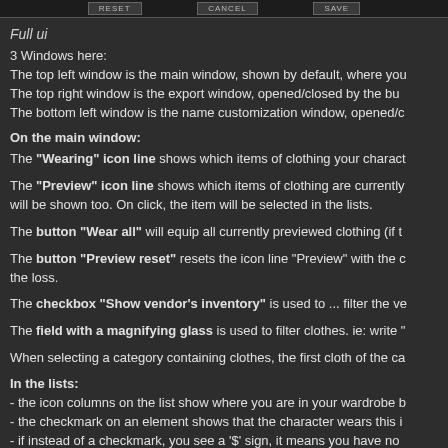[Figure (screenshot): UI toolbar with RESET, CANCEL, and SAVE buttons on dark background]
Full ui
3 Windows here:
The top left window is the main window, shown by default, where you
The top right window is the export window, opened/closed by the bu
The bottom left window is the name customization window, opened/c
On the main window:
The "Wearing" icon line shows which items of clothing your charact
The "Preview" icon line shows which items of clothing are currently
will be shown too. On click, the item will be selected in the lists.
The button "Wear all" will equip all currently previewed clothing (if t
The button "Preview reset" resets the icon line "Preview" with the c
the loss.
The checkbox "Show vendor's inventory" is used to ... filter the ve
The field with a magnifying glass is used to filter clothes. ie: write "
When selecting a category containing clothes, the first cloth of the ca
In the lists:
- the icon columns on the list show where you are in your wardrobe b
- the checkmark on an element shows that the character wears this i
- if instead of a checkmark, you see a '$' sign, it means you have no